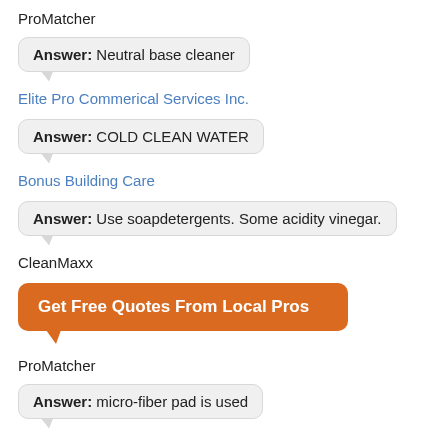ProMatcher
Answer: Neutral base cleaner
Elite Pro Commerical Services Inc.
Answer: COLD CLEAN WATER
Bonus Building Care
Answer: Use soapdetergents. Some acidity vinegar.
CleanMaxx
Get Free Quotes From Local Pros
ProMatcher
Answer: micro-fiber pad is used